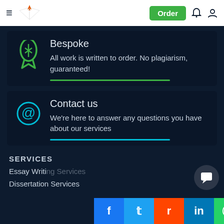Order
Bespoke
All work is written to order. No plagiarism, guaranteed!
Contact us
We're here to answer any questions you have about our services
SERVICES
Essay Writing Services
Dissertation Services